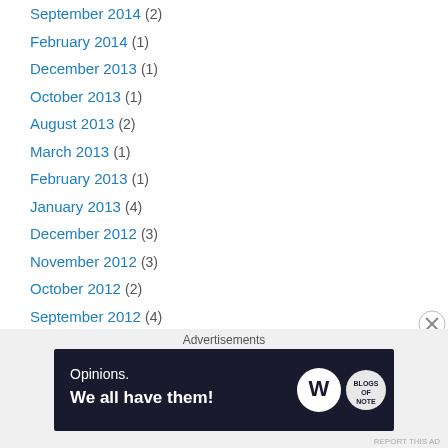September 2014 (2)
February 2014 (1)
December 2013 (1)
October 2013 (1)
August 2013 (2)
March 2013 (1)
February 2013 (1)
January 2013 (4)
December 2012 (3)
November 2012 (3)
October 2012 (2)
September 2012 (4)
August 2012 (3)
July 2012 (1)
June 2012 (3)
May 2012 (6)
Advertisements
[Figure (other): Advertisement banner: 'Opinions. We all have them!' with WordPress and Blogs of Note logos on dark background]